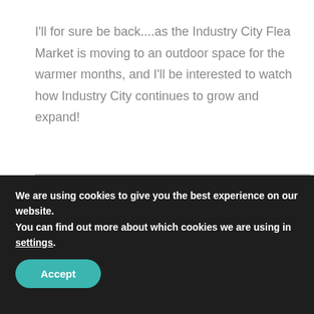I'll for sure be back....as the Industry City Flea Market is moving to an outdoor space for the warmer months, and I'll be interested to watch how Industry City continues to grow and expand!
[Figure (photo): Interior photo showing large industrial black-framed windows reflecting light, with a white frame or panel visible at the bottom]
We are using cookies to give you the best experience on our website.
You can find out more about which cookies we are using in settings.